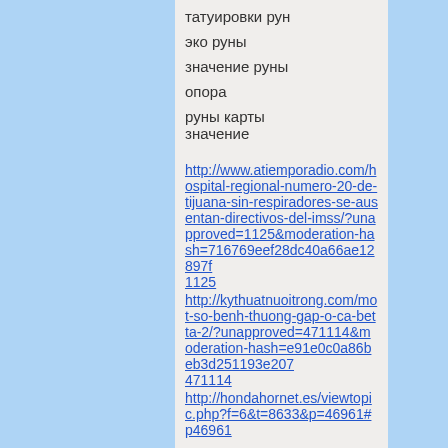татуировки рун
эко руны
значение руны
опора
руны карты значение
http://www.atiemporadio.com/hospital-regional-numero-20-de-tijuana-sin-respiradores-se-ausentan-directivos-del-imss/?unapproved=1125&moderation-hash=716769eef28dc40a66ae12897f... 1125
http://kythuatnuoitrong.com/mot-so-benh-thuong-gap-o-ca-betta-2/?unapproved=471114&moderation-hash=e91e0c0a86beb3d251193e207... 471114
http://hondahornet.es/viewtopic.php?f=6&t=8633&p=46961#p46961